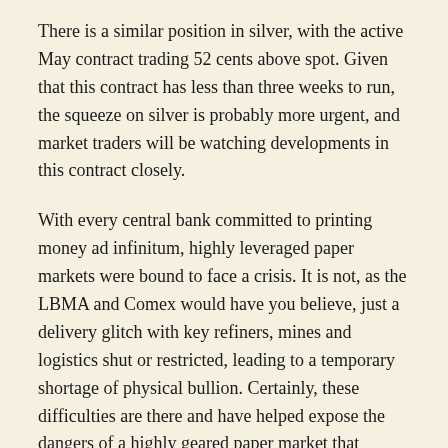There is a similar position in silver, with the active May contract trading 52 cents above spot. Given that this contract has less than three weeks to run, the squeeze on silver is probably more urgent, and market traders will be watching developments in this contract closely.
With every central bank committed to printing money ad infinitum, highly leveraged paper markets were bound to face a crisis. It is not, as the LBMA and Comex would have you believe, just a delivery glitch with key refiners, mines and logistics shut or restricted, leading to a temporary shortage of physical bullion. Certainly, these difficulties are there and have helped expose the dangers of a highly geared paper market that controls gold and silver prices by expanding infinitely to absorb demand. It is the debauchment of paper currencies that is now the problem.
Consequently, no one knows the real prices of gold and silver